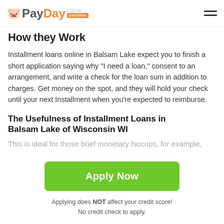PayDay Loan Solution
How they Work
Installment loans online in Balsam Lake expect you to finish a short application saying why "I need a loan," consent to an arrangement, and write a check for the loan sum in addition to charges. Get money on the spot, and they will hold your check until your next Installment when you're expected to reimburse.
The Usefulness of Installment Loans in Balsam Lake of Wisconsin WI
This is ideal for those brief monetary hiccups, for example,
Apply Now
Applying does NOT affect your credit score!
No credit check to apply.